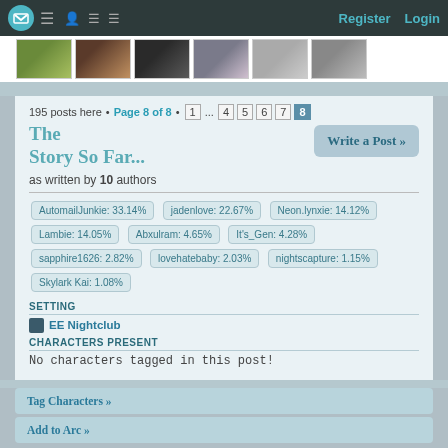Register Login
[Figure (photo): Strip of 6 user profile photo thumbnails]
195 posts here • Page 8 of 8 • 1 ... 4 5 6 7 8
The Story So Far...
as written by 10 authors
Write a Post »
AutomailJunkie: 33.14%
jadenlove: 22.67%
Neon.lynxie: 14.12%
Lambie: 14.05%
Abxulram: 4.65%
It's_Gen: 4.28%
sapphire1626: 2.82%
lovehatebaby: 2.03%
nightscapture: 1.15%
Skylark Kai: 1.08%
SETTING
EE Nightclub
CHARACTERS PRESENT
No characters tagged in this post!
Tag Characters »
Add to Arc »